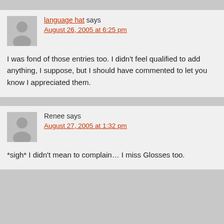language hat says August 26, 2005 at 6:25 pm
I was fond of those entries too. I didn't feel qualified to add anything, I suppose, but I should have commented to let you know I appreciated them.
Renee says August 27, 2005 at 1:32 pm
*sigh* I didn't mean to complain… I miss Glosses too.